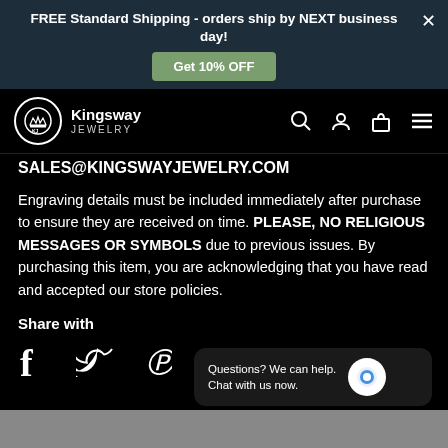FREE Standard Shipping - orders ship by NEXT business day!
[Figure (logo): Kingsway Jewelry logo with crown in circle]
SALES@KINGSWAYJEWELRY.COM
Engraving details must be included immediately after purchase to ensure they are received on time. PLEASE, NO RELIGIOUS MESSAGES OR SYMBOLS due to previous issues. By purchasing this item, you are acknowledging that you have read and accepted our store policies.
Share with
[Figure (infographic): Social share icons: Facebook (f), Twitter (bird), Pinterest (P)]
Questions? We can help. Chat with us now.